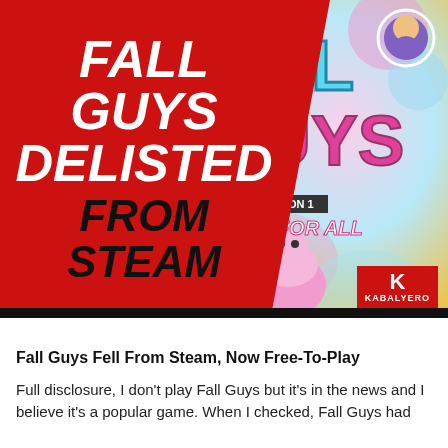[Figure (screenshot): Fall Guys Delisted From Steam promotional image. Left half: red background with bold italic white text 'FALL GUYS DELISTED' and black text 'FROM STEAM'. Right half: colorful Fall Guys game art showing 'ALL GUYS' logo in teal and pink, 'SEASON 1 FREE FOR ALL' text, game characters, and a KABALYERO watermark badge bottom-right.]
Fall Guys Fell From Steam, Now Free-To-Play
Full disclosure, I don't play Fall Guys but it's in the news and I believe it's a popular game. When I checked, Fall Guys had